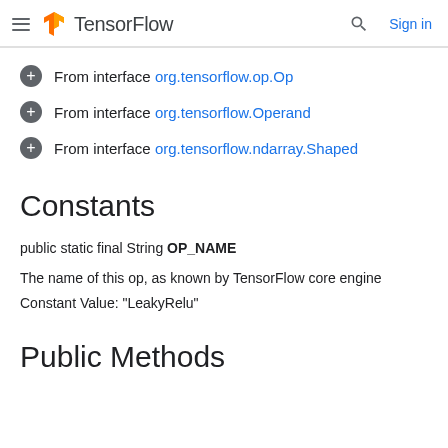TensorFlow — Sign in
From interface org.tensorflow.op.Op
From interface org.tensorflow.Operand
From interface org.tensorflow.ndarray.Shaped
Constants
public static final String OP_NAME
The name of this op, as known by TensorFlow core engine
Constant Value: "LeakyRelu"
Public Methods